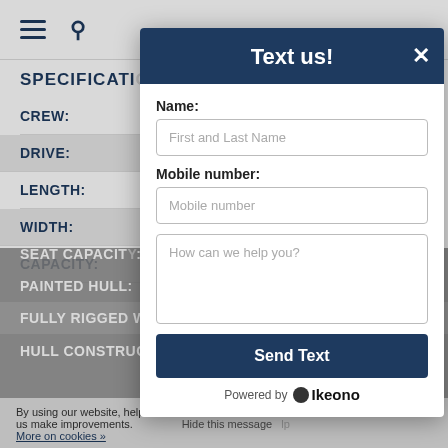≡  🔍
SPECIFICATIONS
CREW:
DRIVE:
LENGTH:
WIDTH:
CAPACITY:
SEAT CAPACITY:
PAINTED HULL:
FULLY RIGGED WEIGHT:
HULL CONSTRUCTION: ROTOMOLDED
[Figure (screenshot): Text us modal dialog with name field, mobile number field, message textarea, and Send Text button. Powered by Ikeono.]
By using our website, help us understand how  us make improvements. Hide this message. More on cookies »